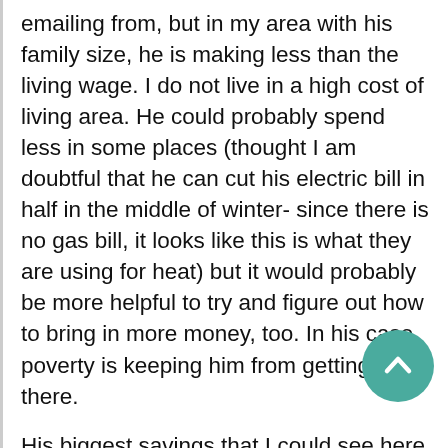emailing from, but in my area with his family size, he is making less than the living wage. I do not live in a high cost of living area. He could probably spend less in some places (thought I am doubtful that he can cut his electric bill in half in the middle of winter- since there is no gas bill, it looks like this is what they are using for heat) but it would probably be more helpful to try and figure out how to bring in more money, too. In his case, poverty is keeping him from getting there.

His biggest savings that I could see here would be the phone bill and